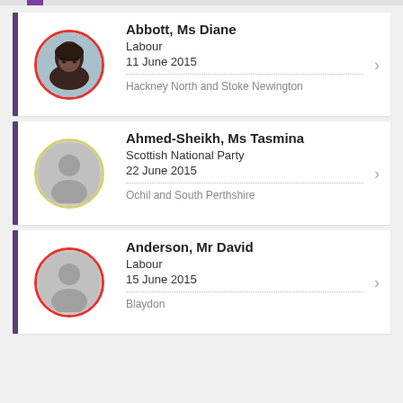Abbott, Ms Diane | Labour | 11 June 2015 | Hackney North and Stoke Newington
Ahmed-Sheikh, Ms Tasmina | Scottish National Party | 22 June 2015 | Ochil and South Perthshire
Anderson, Mr David | Labour | 15 June 2015 | Blaydon